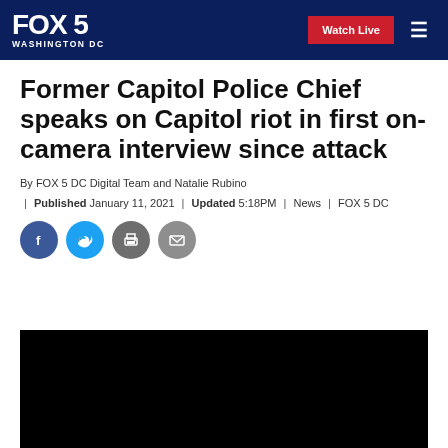FOX 5 WASHINGTON DC | Watch Live
Former Capitol Police Chief speaks on Capitol riot in first on-camera interview since attack
By FOX 5 DC Digital Team and Natalie Rubino | Published January 11, 2021 | Updated 5:18PM | News | FOX 5 DC
[Figure (other): Social media sharing icons: Facebook, Twitter, Print, Email]
[Figure (photo): Black video thumbnail area]